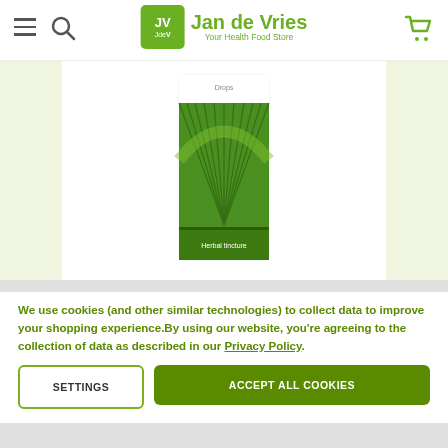Jan de Vries – Your Health Food Store
[Figure (photo): Product box with green palm/fan leaf design labeled 'Herbal Tincture' on white background, against a light green background]
A.Vogel
£10.85
We use cookies (and other similar technologies) to collect data to improve your shopping experience.By using our website, you're agreeing to the collection of data as described in our Privacy Policy.
SETTINGS
ACCEPT ALL COOKIES